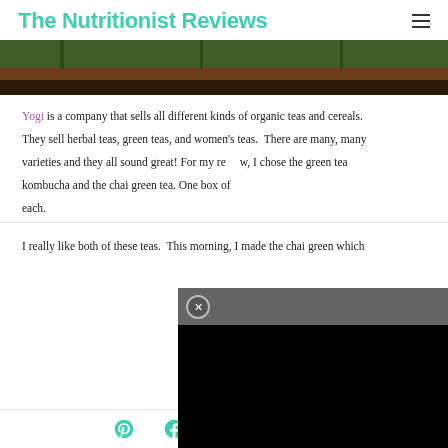The Nutritionist Reviews
[Figure (photo): Bottom edge of product boxes (green tea packages) sitting on a brown wooden surface]
Yogi is a company that sells all different kinds of organic teas and cereals. They sell herbal teas, green teas, and women's teas. There are many, many varieties and they all sound great! For my review, I chose the green tea kombucha and the chai green tea. One box of each of these retail for $4.99 each.
I really like both of these teas. This morning, I made the chai green which
Share icons: Pinterest, Facebook, Email, Twitter, WhatsApp